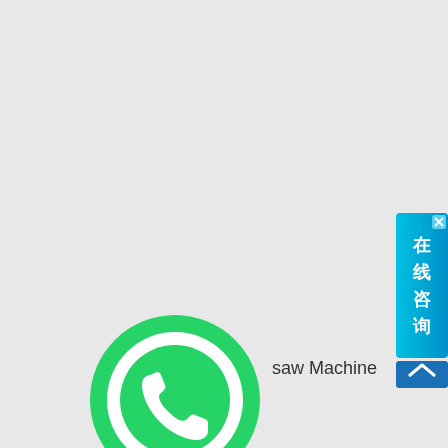[Figure (logo): WhatsApp logo — green circle with white phone handset icon inside a speech bubble]
saw Machine
[Figure (screenshot): Blue vertical banner in the bottom-right corner with Chinese characters '在线咨询' (online consultation) and a small 'x' close button at top, plus a blue square button below with an upward chevron arrow]